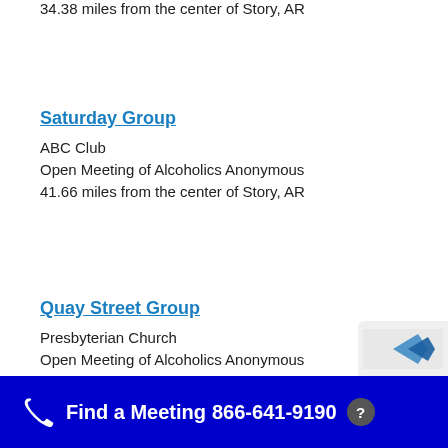34.38 miles from the center of Story, AR
Saturday Group
ABC Club
Open Meeting of Alcoholics Anonymous
41.66 miles from the center of Story, AR
Quay Street Group
Presbyterian Church
Open Meeting of Alcoholics Anonymous
Find a Meeting  866-641-9190